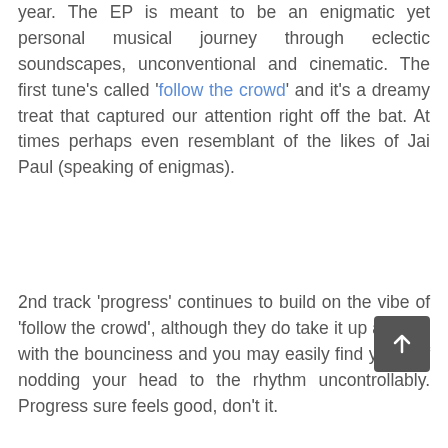year. The EP is meant to be an enigmatic yet personal musical journey through eclectic soundscapes, unconventional and cinematic. The first tune's called 'follow the crowd' and it's a dreamy treat that captured our attention right off the bat. At times perhaps even resemblant of the likes of Jai Paul (speaking of enigmas).
2nd track 'progress' continues to build on the vibe of 'follow the crowd', although they do take it up a notch with the bounciness and you may easily find yourself nodding your head to the rhythm uncontrollably. Progress sure feels good, don't it.